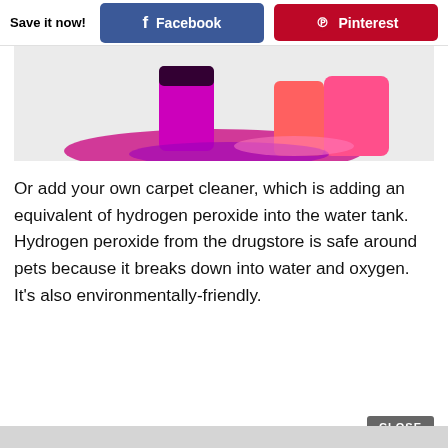Save it now!  Facebook  Pinterest
[Figure (photo): Partial view of colorful makeup or cosmetic products in pink, magenta, and purple colors against a light background]
Or add your own carpet cleaner, which is adding an equivalent of hydrogen peroxide into the water tank. Hydrogen peroxide from the drugstore is safe around pets because it breaks down into water and oxygen. It’s also environmentally-friendly.